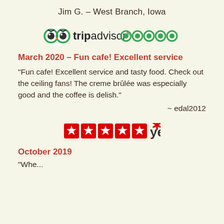Jim G. – West Branch, Iowa
[Figure (logo): TripAdvisor logo with owl icon and text 'tripadvisor', followed by five green circle rating icons]
March 2020 – Fun cafe! Excellent service
"Fun cafe! Excellent service and tasty food. Check out the ceiling fans! The creme brûlée was especially good and the coffee is delish."
~ edal2012
[Figure (logo): Five red star rating squares followed by Yelp logo with red burst icon]
October 2019
"Whe...